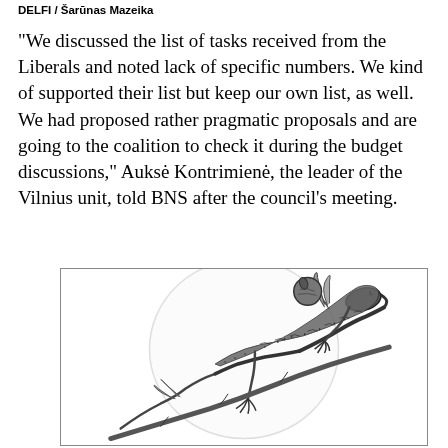DELFI / Šarūnas Mazeika
“We discussed the list of tasks received from the Liberals and noted lack of specific numbers. We kind of supported their list but keep our own list, as well. We had proposed rather pragmatic proposals and are going to the coalition to check it during the budget discussions,” Auksė Kontrimienė, the leader of the Vilnius unit, told BNS after the council’s meeting.
[Figure (illustration): Black and white engraving-style illustration of a lizard (salamander or lizard species) coiled around a plant branch with leaves, set against a circular background suggesting a moon or globe. Detailed stipple/hatching art style.]